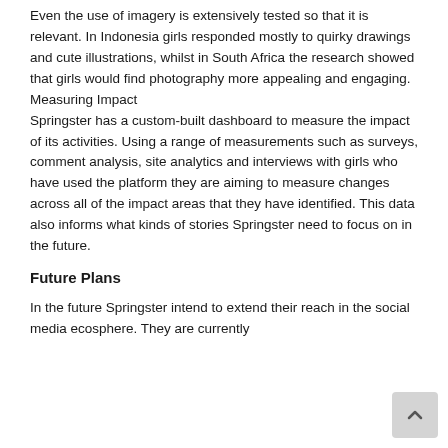Even the use of imagery is extensively tested so that it is relevant. In Indonesia girls responded mostly to quirky drawings and cute illustrations, whilst in South Africa the research showed that girls would find photography more appealing and engaging.
Measuring Impact
Springster has a custom-built dashboard to measure the impact of its activities. Using a range of measurements such as surveys, comment analysis, site analytics and interviews with girls who have used the platform they are aiming to measure changes across all of the impact areas that they have identified. This data also informs what kinds of stories Springster need to focus on in the future.
Future Plans
In the future Springster intend to extend their reach in the social media ecosphere. They are currently